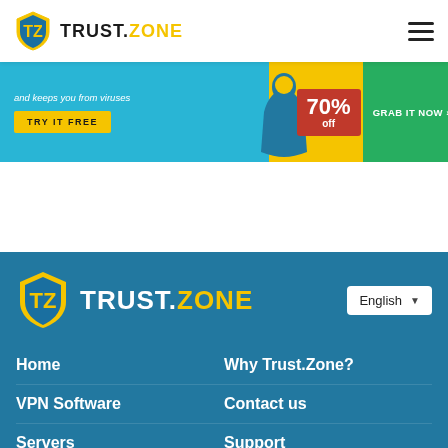TRUST.ZONE
[Figure (screenshot): Trust.Zone VPN promotional banner with cyan/yellow background, TRY IT FREE button, 70% off in red box, and GRAB IT NOW green button]
[Figure (logo): Trust.Zone footer logo with shield icon and TRUST.ZONE text]
Home
Why Trust.Zone?
VPN Software
Contact us
Servers
Support
Terms of Service
Blog